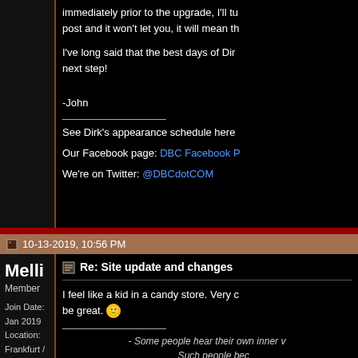immediately prior to the upgrade, I'll tu post and it won't let you, it will mean th
I've long said that the best days of Dir next step!
-John
See Dirk's appearance schedule here
Our Facebook page: DBC Facebook P
We're on Twitter: @DBCdotCOM
10-13-2019, 10:56 PM
Melli
Member
Join Date: Jan 2019
Location: Frankfurt / Germany
Posts: 61
Re: Site update and changes
I feel like a kid in a candy store. Very c be great.
- Some people hear their own inner v Such people bec